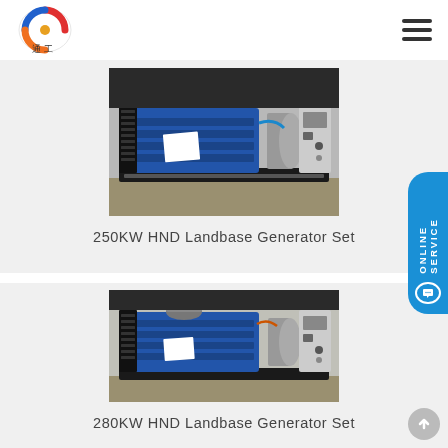Logo and navigation header
[Figure (photo): 250KW HND Landbase Generator Set - industrial diesel generator on a black frame with blue engine and control panel, photographed in a warehouse]
250KW HND Landbase Generator Set
[Figure (photo): 280KW HND Landbase Generator Set - industrial diesel generator on a black frame with blue engine and cylindrical air intake on top, photographed in a warehouse]
280KW HND Landbase Generator Set